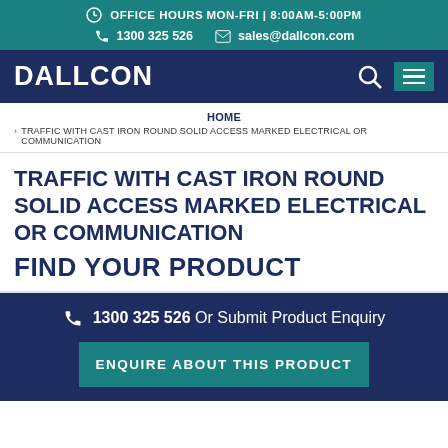OFFICE HOURS MON-FRI | 8:00AM-5:00PM
1300 325 526   sales@dallcon.com
[Figure (logo): DALLCON logo in white on dark navy background with search and menu icons]
HOME > TRAFFIC WITH CAST IRON ROUND SOLID ACCESS MARKED ELECTRICAL OR COMMUNICATION
TRAFFIC WITH CAST IRON ROUND SOLID ACCESS MARKED ELECTRICAL OR COMMUNICATION
FIND YOUR PRODUCT
1300 325 526 Or Submit Product Enquiry
ENQUIRE ABOUT THIS PRODUCT